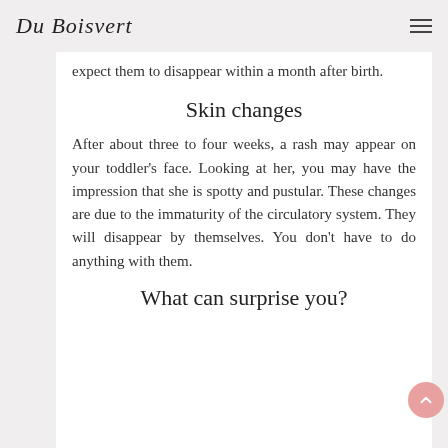Du Boisvert
expect them to disappear within a month after birth.
Skin changes
After about three to four weeks, a rash may appear on your toddler's face. Looking at her, you may have the impression that she is spotty and pustular. These changes are due to the immaturity of the circulatory system. They will disappear by themselves. You don't have to do anything with them.
What can surprise you?